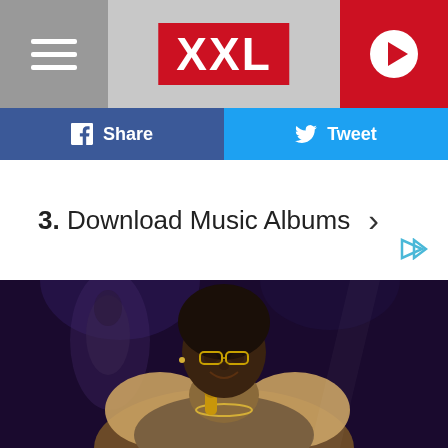XXL
Share
Tweet
3.  Download Music Albums
[Figure (photo): Male performer on stage wearing a fur-trimmed leather jacket, holding a gold microphone, with gold chain necklaces and glasses, performing in front of a dark stage background.]